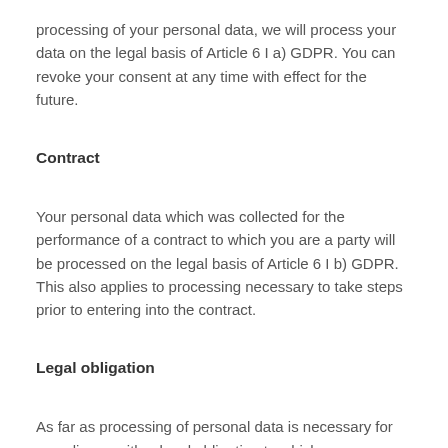processing of your personal data, we will process your data on the legal basis of Article 6 I a) GDPR. You can revoke your consent at any time with effect for the future.
Contract
Your personal data which was collected for the performance of a contract to which you are a party will be processed on the legal basis of Article 6 I b) GDPR. This also applies to processing necessary to take steps prior to entering into the contract.
Legal obligation
As far as processing of personal data is necessary for compliance with a legal obligation to which our company is subject, we will process your data on the legal basis of